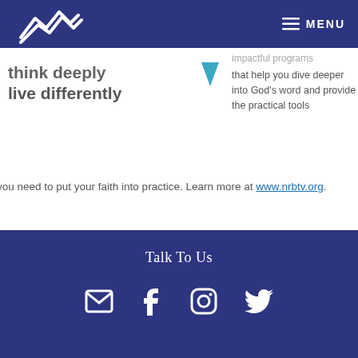think deeply live differently — MENU
think deeply
live differently
impactful programs that help you dive deeper into God's word and provide the practical tools you need to put your faith into practice. Learn more at www.nrbtv.org.
Talk To Us
[Figure (infographic): Social media icons: email, Facebook, Instagram, Twitter in white on dark blue background]